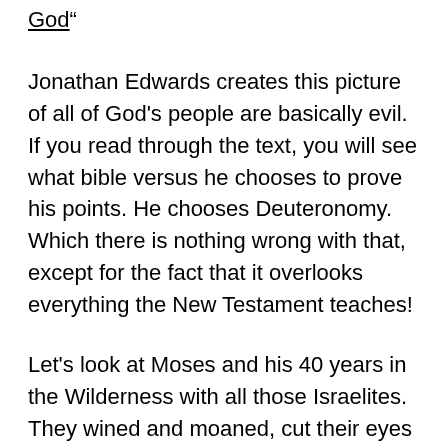God"
Jonathan Edwards creates this picture of all of God's people are basically evil. If you read through the text, you will see what bible versus he chooses to prove his points. He chooses Deuteronomy. Which there is nothing wrong with that, except for the fact that it overlooks everything the New Testament teaches!
Let's look at Moses and his 40 years in the Wilderness with all those Israelites. They wined and moaned, cut their eyes at Moses and did everything God said not to do. So, God punished them when they did not follow His directions. They instantly repent and go about whatever a normal